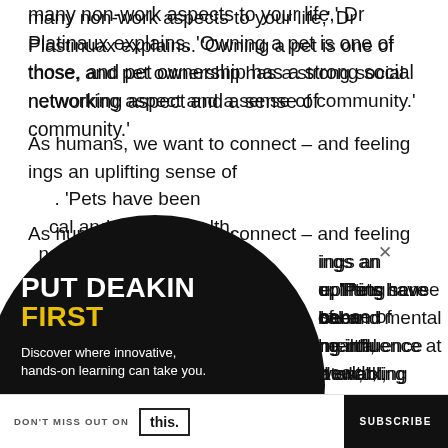many non-work aspects to your life,' Dr Plastinuax explains. 'Owning a pet is one of those, and pet ownership has a strong social networking aspect and a sense of community.'
As humans, we want to connect – and feeling [connected] brings an uplifting sense of [belonging], he [notes]. 'Pets have been [shown] to [have] physical and mental health, [as well as] a [calming] influence at work, [stress reduction and] enabling social [connections],' he adds.
[Figure (infographic): Deakin University advertisement overlay. Black circle shape with text: PUT DEAKIN (white bold) FIRST (yellow bold). Body text: Discover where innovative, hands-on learning can take you. Pink rounded button: CHOOSE DEAKIN. Yellow left-pointing arrow beside button. Close X symbol top right of overlay.]
How to avoid biting off more than you can chew
Aside from the obvious issues of making a…
DON'T MISS OUT ON this. SUBSCRIBE